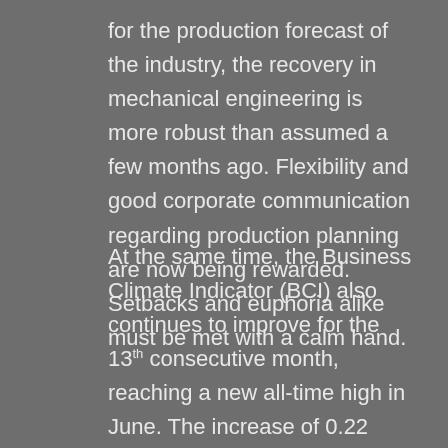for the production forecast of the industry, the recovery in mechanical engineering is more robust than assumed a few months ago. Flexibility and good corporate communication regarding production planning are now being rewarded. Setbacks and euphoria alike must be met with a calm hand.
At the same time, the Business Climate Indicator (BCI) also continues to improve for the 13th consecutive month, reaching a new all-time high in June. The increase of 0.22 points raises the index to its record level of 1.71 points. The current business situation is assessed as overall positive